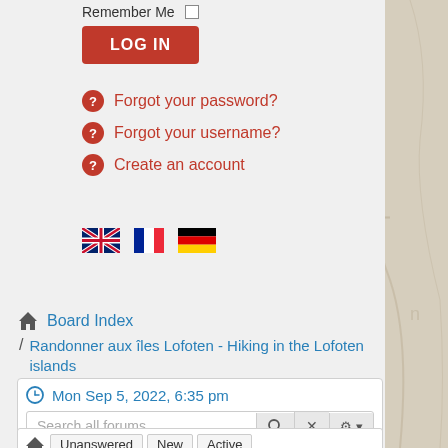Remember Me
LOG IN
Forgot your password?
Forgot your username?
Create an account
[Figure (illustration): Three country flags: UK (Union Jack), France (tricolor blue/white/red), Germany (tricolor black/red/yellow)]
Board Index
Randonner aux îles Lofoten - Hiking in the Lofoten islands
Mon Sep 5, 2022, 6:35 pm
Search all forums...
Unanswered   New   Active